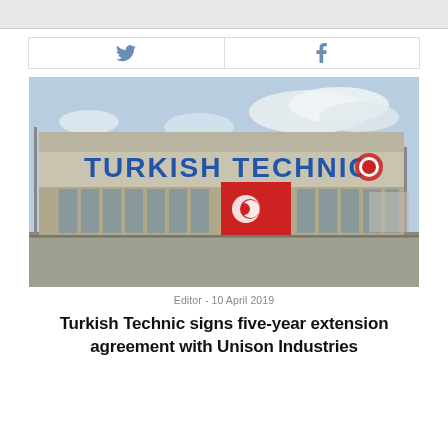[Figure (photo): Exterior of the Turkish Technic maintenance hangar building with large blue lettering reading TURKISH TECHNIC and the Turkish Airlines logo, Turkish flag hanging on the facade, cloudy sky background, apron/tarmac in foreground.]
Editor - 10 April 2019
Turkish Technic signs five-year extension agreement with Unison Industries